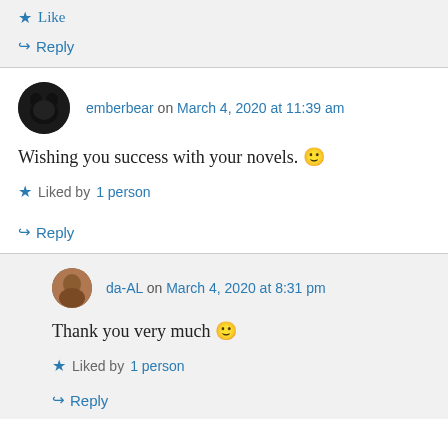★ Like
↪ Reply
emberbear on March 4, 2020 at 11:39 am
Wishing you success with your novels. 🙂
★ Liked by 1 person
↪ Reply
da-AL on March 4, 2020 at 8:31 pm
Thank you very much 🙂
★ Liked by 1 person
↪ Reply